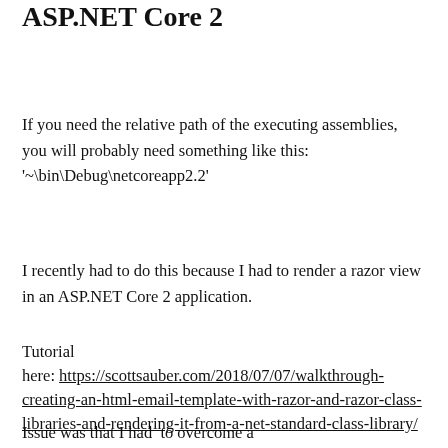ASP.NET Core 2
If you need the relative path of the executing assemblies, you will probably need something like this: '~\bin\Debug\netcoreapp2.2'
I recently had to do this because I had to render a razor view in an ASP.NET Core 2 application.
Tutorial here: https://scottsauber.com/2018/07/07/walkthrough-creating-an-html-email-template-with-razor-and-razor-class-libraries-and-rendering-it-from-a-net-standard-class-library/
Issue was that I had to overcome a